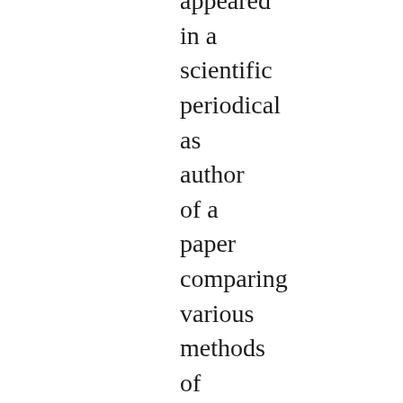appeared in a scientific periodical as author of a paper comparing various methods of hemoglobin determination, printed in the Journal of Biological Chemistry. The next year Whipple nominated